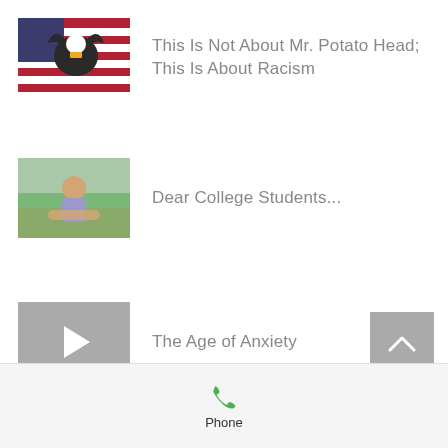This Is Not About Mr. Potato Head; This Is About Racism
Dear College Students...
The Age of Anxiety
Losing A Friend
Phone